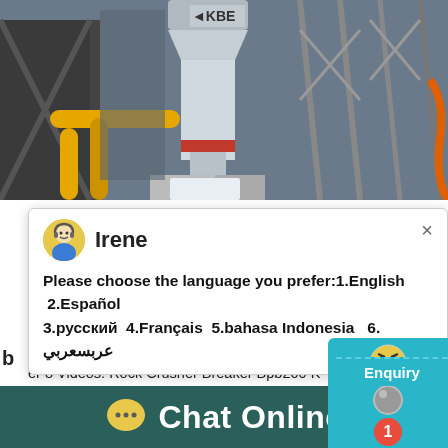[Figure (photo): Industrial photo of a KBE brand grinding mill or mineral processing machine, with large yellow pipes, metal structures, scaffolding, and a white cylindrical vertical mill unit with a red band visible in an industrial facility.]
[Figure (screenshot): Live chat popup with avatar of agent named Irene. Message: Please choose the language you prefer:1.English 2.Español 3.русский 4.Français 5.bahasa Indonesia 6. عربسعربي]
Broons Kirpy Rock Crusher 8 Videos. Broons Kirpy Rock Crusher 8 Videos. Rock Crusher Breaker Bpb200 K nes4u, Kirpy broons rock crusher 2002 mode width 1800 mm cutters 1280 mm 2350 kilos
[Figure (screenshot): Right-side chat widget panel showing a chat icon, angry emoji, number 1 badge, and 'Click me to chat >>' button on teal background. Below it shows 'Enquiry' partial text.]
Chat Online